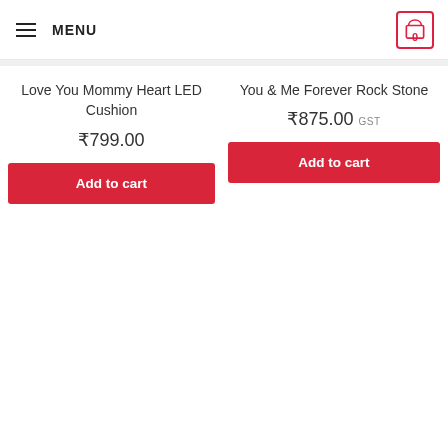MENU | Cart: 0
Love You Mommy Heart LED Cushion
₹799.00
Add to cart
You & Me Forever Rock Stone
₹875.00 GST
Add to cart